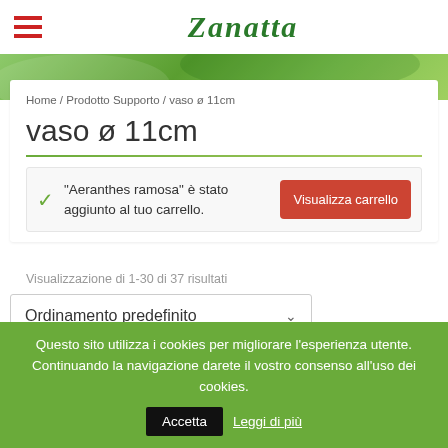Zanatta [logo]
[Figure (screenshot): Green foliage banner background]
Home / Prodotto Supporto / vaso ø 11cm
vaso ø 11cm
"Aeranthes ramosa" è stato aggiunto al tuo carrello.
Visualizza carrello
Visualizzazione di 1-30 di 37 risultati
Ordinamento predefinito
Questo sito utilizza i cookies per migliorare l'esperienza utente. Continuando la navigazione darete il vostro consenso all'uso dei cookies.
Accetta
Leggi di più